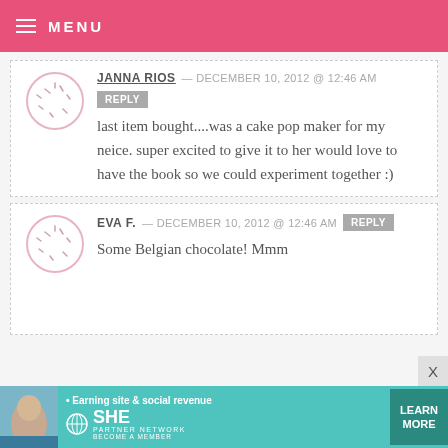MENU
JANNA RIOS — DECEMBER 10, 2012 @ 12:46 AM
REPLY
last item bought....was a cake pop maker for my neice. super excited to give it to her would love to have the book so we could experiment together :)
EVA F. — DECEMBER 10, 2012 @ 12:46 AM REPLY
Some Belgian chocolate! Mmm
[Figure (other): Advertisement banner: SHE Partner Network — Earning site & social revenue, LEARN MORE, Become a Member]